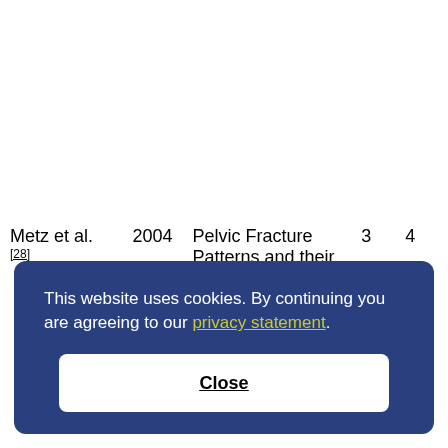| Author | Year | Title |  |  |
| --- | --- | --- | --- | --- |
| Metz et al.[28] | 2004 | Pelvic Fracture Patterns and their Corresponding Angiographic Sources of Hemorrhage | 3 | 4 |
This website uses cookies. By continuing you are agreeing to our privacy statement.